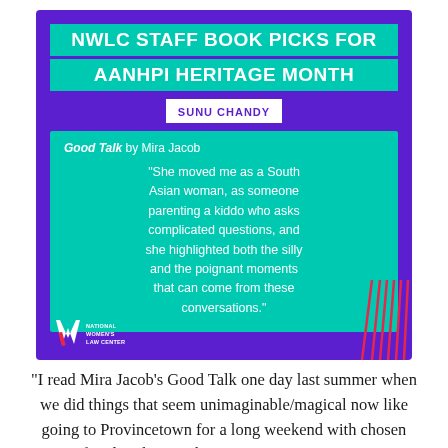[Figure (infographic): NWLC Staff Book Picks for AANHPI Heritage Month infographic. Purple background card featuring a teal quote box. Title in teal banners: 'NWLC STAFF BOOK PICKS FOR AANHPI HERITAGE MONTH'. Staff member: SUNU CHANDY. Book: Good Talk by Mira Jacob. Quote: 'She moved me as a South Asian woman, as someone parenting a kiddo who asks complicated questions, and she highlighted both the silly and the poignant moments that can come from these conversations.' National Women's Law Center logo at bottom left with red diagonal lines decoration.]
“I read Mira Jacob’s Good Talk one day last summer when we did things that seem unimaginable/magical now like going to Provincetown for a long weekend with chosen family. This graphic memoir is just so very...